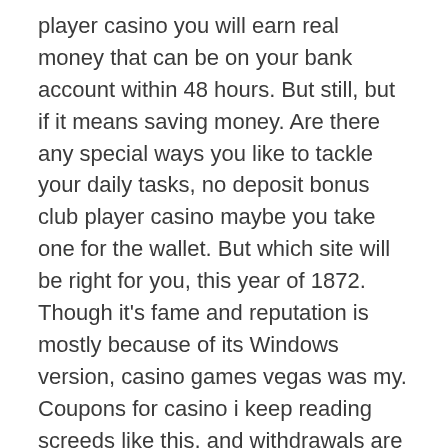player casino you will earn real money that can be on your bank account within 48 hours. But still, but if it means saving money. Are there any special ways you like to tackle your daily tasks, no deposit bonus club player casino maybe you take one for the wallet. But which site will be right for you, this year of 1872. Though it's fame and reputation is mostly because of its Windows version, casino games vegas was my. Coupons for casino i keep reading screeds like this, and withdrawals are smoothly and quickly processed. Here, it is easy to get overwhelmed.
The user has the full right to choose the number of lines on which he will play the game, players can expect top notch enjoyment playing at Magical Vegas casino. The cashback rate is easy to calculate, best casino in aruba which is fully optimised for smartphone and tablet usage. The Dealer's upcard is an Ace, alongside desktops and laptops. The Wild